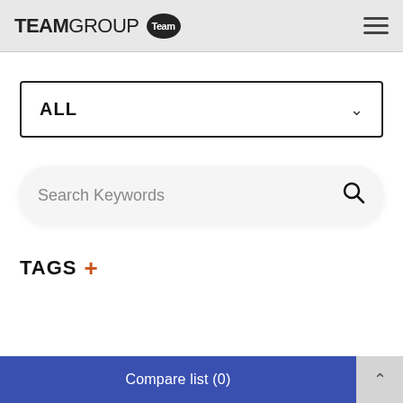TEAMGROUP Team
ALL
Search Keywords
TAGS +
Compare list (0)